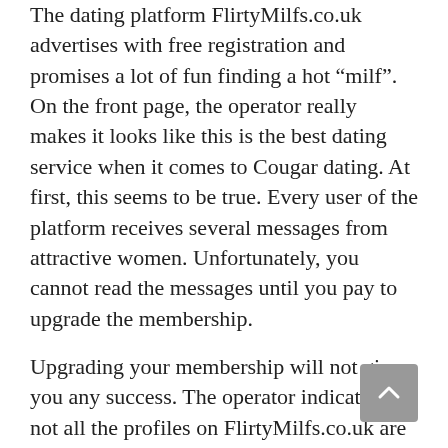The dating platform FlirtyMilfs.co.uk advertises with free registration and promises a lot of fun finding a hot “milf”. On the front page, the operator really makes it looks like this is the best dating service when it comes to Cougar dating. At first, this seems to be true. Every user of the platform receives several messages from attractive women. Unfortunately, you cannot read the messages until you pay to upgrade the membership.
Upgrading your membership will not give you any success. The operator indicates that not all the profiles on FlirtyMilfs.co.uk are real. They are moderators, whose task is to entice the users to send messages. This is a clever way to make the paid membership look more appealing. The company behind this is AriemGroup Limited, which has its base in Hong Kong.
Scroll down to read the details of our FlirtyMilfs.co.uk